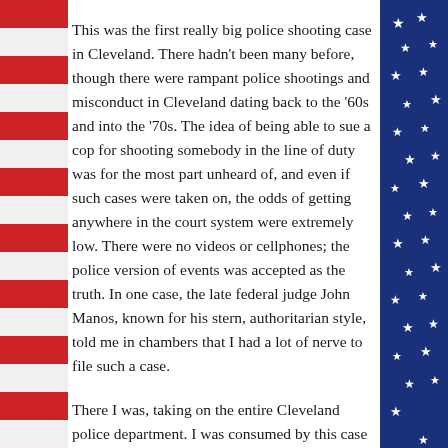This was the first really big police shooting case in Cleveland. There hadn't been many before, though there were rampant police shootings and misconduct in Cleveland dating back to the '60s and into the '70s. The idea of being able to sue a cop for shooting somebody in the line of duty was for the most part unheard of, and even if such cases were taken on, the odds of getting anywhere in the court system were extremely low. There were no videos or cellphones; the police version of events was accepted as the truth. In one case, the late federal judge John Manos, known for his stern, authoritarian style, told me in chambers that I had a lot of nerve to file such a case.
There I was, taking on the entire Cleveland police department. I was consumed by this case because it fit right into my evolving views about the relationship between the police in America and the Black community.